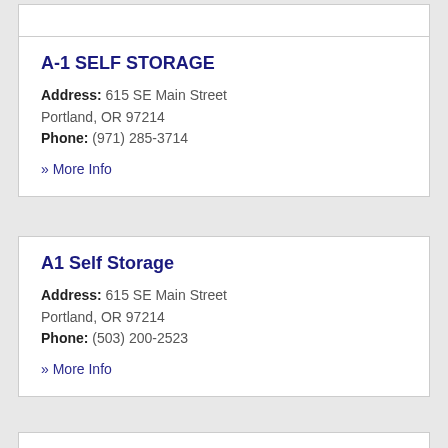A-1 SELF STORAGE
Address: 615 SE Main Street Portland, OR 97214
Phone: (971) 285-3714
» More Info
A1 Self Storage
Address: 615 SE Main Street Portland, OR 97214
Phone: (503) 200-2523
» More Info